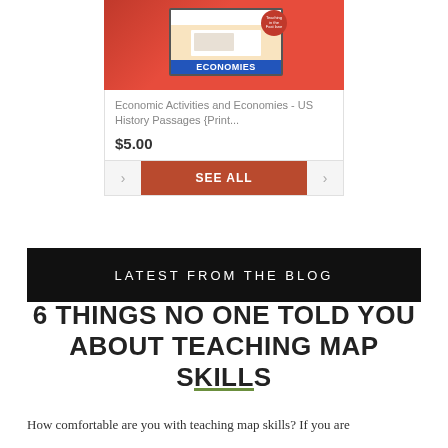[Figure (screenshot): Product card showing a laptop with 'ECONOMIES' text on blue band, with teaching badge]
Economic Activities and Economies - US History Passages {Print...
$5.00
LATEST FROM THE BLOG
6 THINGS NO ONE TOLD YOU ABOUT TEACHING MAP SKILLS
How comfortable are you with teaching map skills? If you are